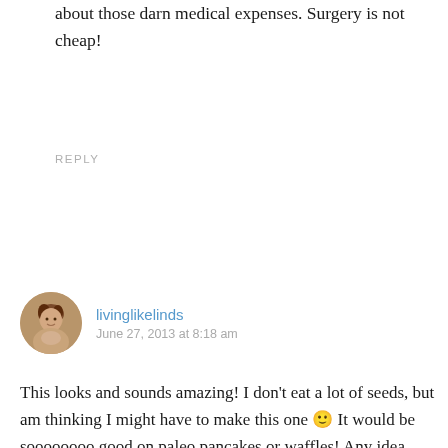about those darn medical expenses. Surgery is not cheap!
REPLY
livinglikelinds
June 27, 2013 at 8:18 am
This looks and sounds amazing! I don't eat a lot of seeds, but am thinking I might have to make this one 🙂 It would be soooooooo good on paleo pancakes or waffles! Any idea how long it will keep? And do you store it in a pantry or refrigerate? And I'm with